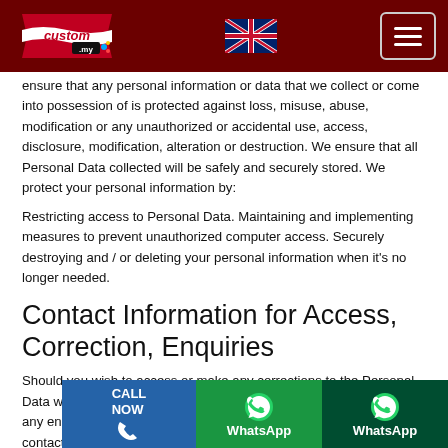custom.my logo, UK flag, menu button
ensure that any personal information or data that we collect or come into possession of is protected against loss, misuse, abuse, modification or any unauthorized or accidental use, access, disclosure, modification, alteration or destruction. We ensure that all Personal Data collected will be safely and securely stored. We protect your personal information by:
Restricting access to Personal Data. Maintaining and implementing measures to prevent unauthorized computer access. Securely destroying and / or deleting your personal information when it's no longer needed.
Contact Information for Access, Correction, Enquiries
Should you wish to access or make any corrections to the Personal Data which Custom.my has collected from you, or otherwise have any enquiries in respect of your Personal Data, please feel free to contact us via e-mail at info@custom.my.
Changes to this Privacy Policy
Custom.my may re...
[Figure (infographic): Bottom bar with three buttons: CALL NOW (blue with phone icon), WhatsApp (green with WhatsApp icon), WhatsApp (dark green with WhatsApp icon)]